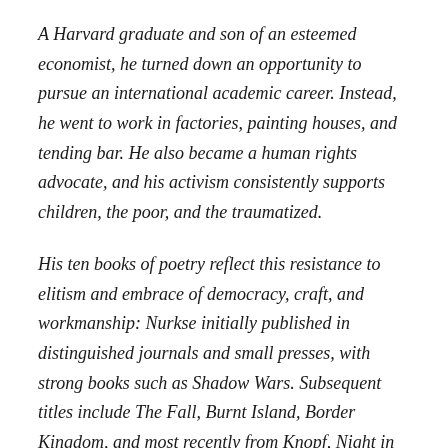A Harvard graduate and son of an esteemed economist, he turned down an opportunity to pursue an international academic career. Instead, he went to work in factories, painting houses, and tending bar. He also became a human rights advocate, and his activism consistently supports children, the poor, and the traumatized.
His ten books of poetry reflect this resistance to elitism and embrace of democracy, craft, and workmanship: Nurkse initially published in distinguished journals and small presses, with strong books such as Shadow Wars. Subsequent titles include The Fall, Burnt Island, Border Kingdom, and most recently from Knopf, Night in Brooklyn. Along the way, he won a Whiting